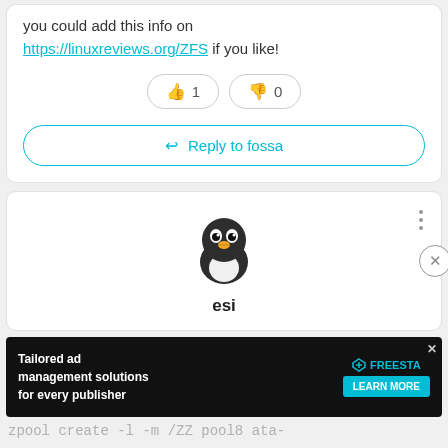you could add this info on https://linuxreviews.org/ZFS if you like!
[Figure (screenshot): Thumbs up button with count 1 and thumbs down button with count 0]
[Figure (screenshot): Reply to fossa button with left-pointing arrow icon]
[Figure (illustration): Penguin emoji/avatar icon]
esi
[Figure (screenshot): Advertisement banner: Tailored ad management solutions for every publisher. FREESTA. LEARN MORE.]
zpool create -l -m /ZZ pool8 ata-